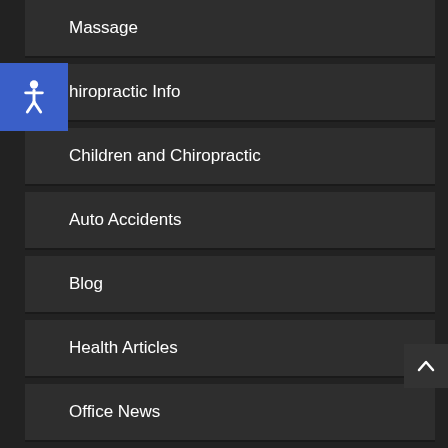Massage
Chiropractic Info
Children and Chiropractic
Auto Accidents
Blog
Health Articles
Office News
Our Videos
Login